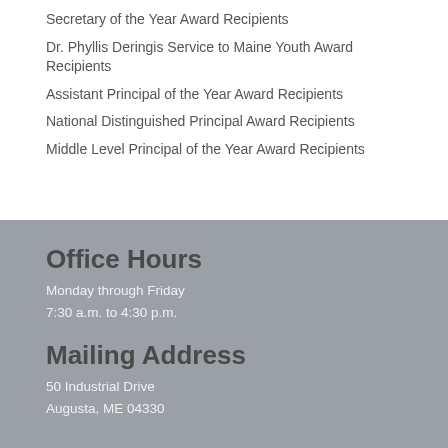Secretary of the Year Award Recipients
Dr. Phyllis Deringis Service to Maine Youth Award Recipients
Assistant Principal of the Year Award Recipients
National Distinguished Principal Award Recipients
Middle Level Principal of the Year Award Recipients
Office Hours
Monday through Friday
7:30 a.m. to 4:30 p.m.
Mailing Address
50 Industrial Drive
Augusta, ME 04330